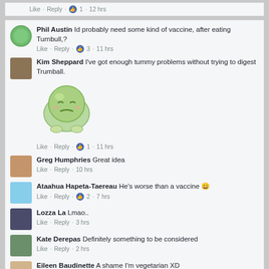Like · Reply · 1 · 12 hrs (partial, top)
Phil Austin Id probably need some kind of vaccine, after eating Turnbull,? Like · Reply · 3 · 11 hrs
Kim Sheppard I've got enough tummy problems without trying to digest Trumball. Like · Reply · 1 · 11 hrs
[Figure (illustration): Green cartoon sick face emoji]
Greg Humphries Great idea Like · Reply · 10 hrs
Ataahua Hapeta-Taereau He's worse than a vaccine 😄 Like · Reply · 2 · 7 hrs
Lozza La Lmao.. Like · Reply · 3 hrs
Kate Derepas Definitely something to be considered Like · Reply · 2 hrs
Eileen Baudinette A shame I'm vegetarian XD Like · Reply · 49 mins
Pawel Pawelski turnbull we will thank you with "no choice = NO VOTE.... same goes for LIB/LAB/GANGREENS Like · Reply · 3 · 13 hrs
Lani Louis Omg. He is TRULY E V I L 😠😟 Like · Reply · 11 hrs